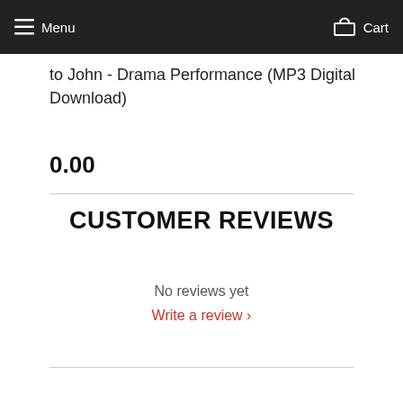Menu  Cart
to John - Drama Performance (MP3 Digital Download)
0.00
CUSTOMER REVIEWS
No reviews yet
Write a review ›